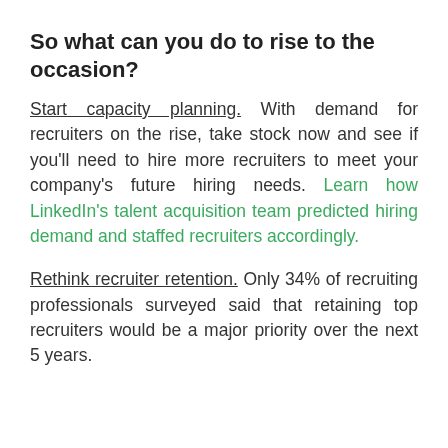So what can you do to rise to the occasion?
Start capacity planning. With demand for recruiters on the rise, take stock now and see if you'll need to hire more recruiters to meet your company's future hiring needs. Learn how LinkedIn's talent acquisition team predicted hiring demand and staffed recruiters accordingly.
Rethink recruiter retention. Only 34% of recruiting professionals surveyed said that retaining top recruiters would be a major priority over the next 5 years.